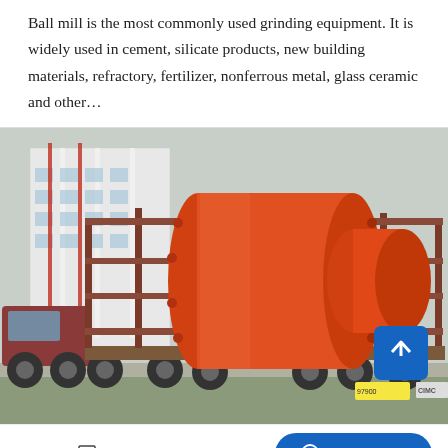Ball mill is the most commonly used grinding equipment. It is widely used in cement, silicate products, new building materials, refractory, fertilizer, nonferrous metal, glass ceramic and other…
[Figure (photo): A large orange ball mill mounted on a flatbed truck/trailer, being transported. The mill is a large cylindrical orange vessel. The truck is in an industrial yard with white factory buildings in the background. A blue scroll-to-top button is overlaid in the lower right of the image.]
Leave Message
Chat Online